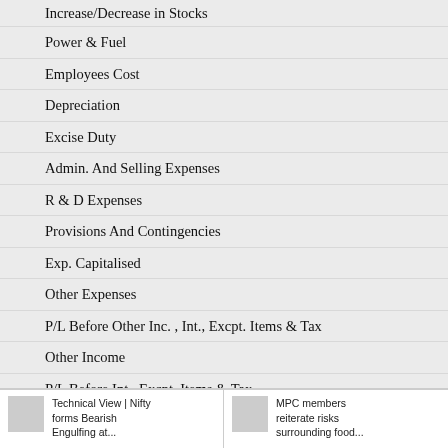Increase/Decrease in Stocks
Power & Fuel
Employees Cost
Depreciation
Excise Duty
Admin. And Selling Expenses
R & D Expenses
Provisions And Contingencies
Exp. Capitalised
Other Expenses
P/L Before Other Inc. , Int., Excpt. Items & Tax
Other Income
P/L Before Int., Excpt. Items & Tax
Interest
Technical View | Nifty forms Bearish Engulfing at... | MPC members reiterate risks surrounding food...